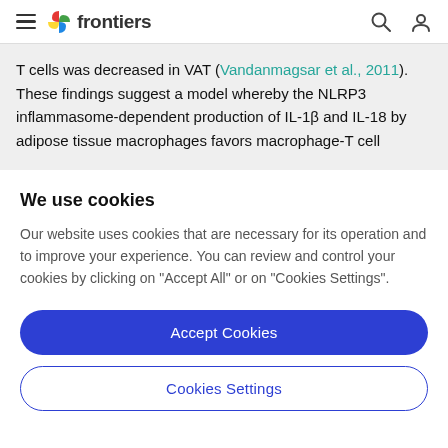frontiers
T cells was decreased in VAT (Vandanmagsar et al., 2011). These findings suggest a model whereby the NLRP3 inflammasome-dependent production of IL-1β and IL-18 by adipose tissue macrophages favors macrophage-T cell
We use cookies
Our website uses cookies that are necessary for its operation and to improve your experience. You can review and control your cookies by clicking on "Accept All" or on "Cookies Settings".
Accept Cookies
Cookies Settings